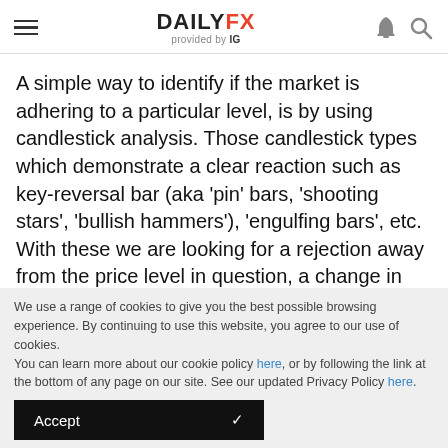DAILYFX provided by IG
A simple way to identify if the market is adhering to a particular level, is by using candlestick analysis. Those candlestick types which demonstrate a clear reaction such as key-reversal bar (aka 'pin' bars, 'shooting stars', 'bullish hammers'), 'engulfing bars', etc. With these we are looking for a rejection away from the price level in question, a change in momentum which shows the markets willingness to reverse from our identified levels. It doesn't
We use a range of cookies to give you the best possible browsing experience. By continuing to use this website, you agree to our use of cookies.
You can learn more about our cookie policy here, or by following the link at the bottom of any page on our site. See our updated Privacy Policy here.
Accept